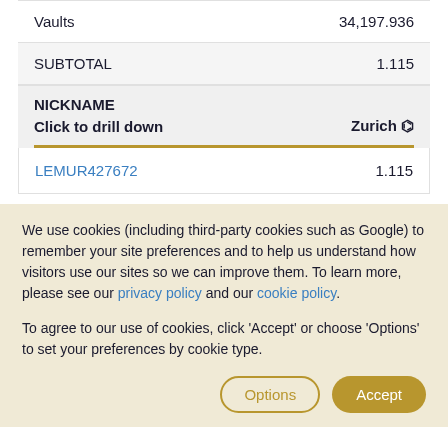|  |  |
| --- | --- |
| Vaults | 34,197.936 |
| SUBTOTAL | 1.115 |
| NICKNAME / Click to drill down | Zurich 🔍 |
| LEMUR427672 | 1.115 |
We use cookies (including third-party cookies such as Google) to remember your site preferences and to help us understand how visitors use our sites so we can improve them. To learn more, please see our privacy policy and our cookie policy.
To agree to our use of cookies, click 'Accept' or choose 'Options' to set your preferences by cookie type.